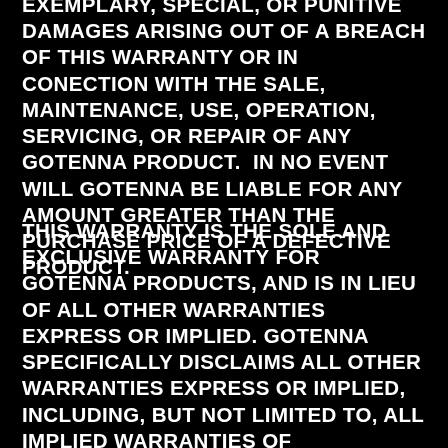EXEMPLARY, SPECIAL, OR PUNITIVE DAMAGES ARISING OUT OF A BREACH OF THIS WARRANTY OR IN CONECTION WITH THE SALE, MAINTENANCE, USE, OPERATION, SERVICING, OR REPAIR OF ANY GOTENNA PRODUCT.  IN NO EVENT WILL GOTENNA BE LIABLE FOR ANY AMOUNT GREATER THAN THE PURCHASE PRICE OF A DEFECTIVE PRODUCT.
THIS WARRANTY IS THE SOLE AND EXCLUSIVE WARRANTY FOR GOTENNA PRODUCTS, AND IS IN LIEU OF ALL OTHER WARRANTIES EXPRESS OR IMPLIED. GOTENNA SPECIFICALLY DISCLAIMS ALL OTHER WARRANTIES EXPRESS OR IMPLIED, INCLUDING, BUT NOT LIMITED TO, ALL IMPLIED WARRANTIES OF MERCHANTABILITY AND OF FITNESS FOR A PARTICULAR USE OR PURPOSE. NO PERSON OR ENTITY IS AUTHORIZED TO BIND GOTENNA TO ANY OTHER WARRANTY, OBLIGATION, OR LIABILITY FOR ANY GOTENNA PRODUCT. ACCEPTANCE OR USE OF THE GOTENNA PRODUCT FOR WHICH THIS